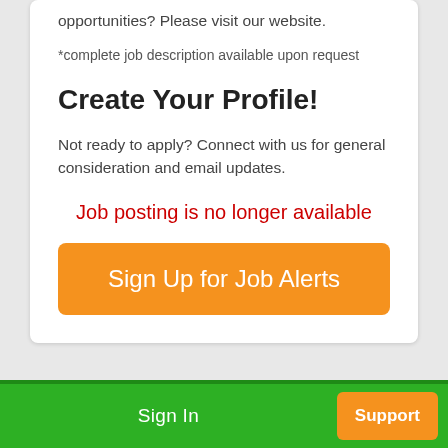opportunities? Please visit our website.
*complete job description available upon request
Create Your Profile!
Not ready to apply? Connect with us for general consideration and email updates.
Job posting is no longer available
[Figure (screenshot): Orange button labeled 'Sign Up for Job Alerts']
Sign In   Support